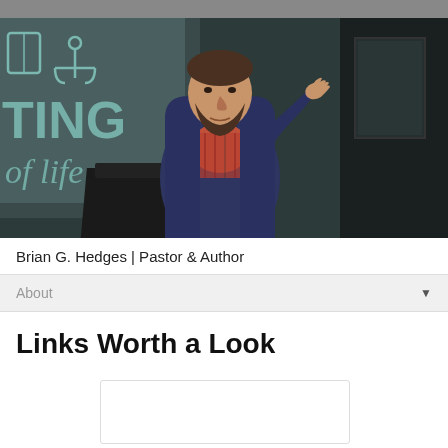[Figure (photo): A man with a beard wearing a dark jacket over a plaid shirt, standing at a podium and gesturing with his right hand raised, speaking in front of a projection screen displaying an anchor icon and the text 'TING of life']
Brian G. Hedges | Pastor & Author
About
Links Worth a Look